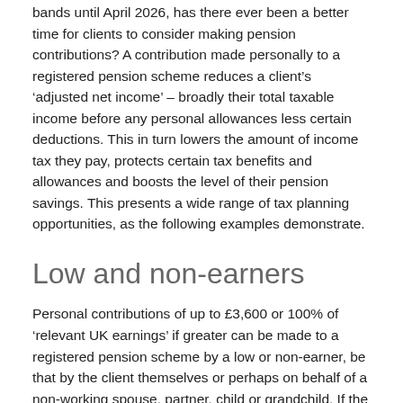bands until April 2026, has there ever been a better time for clients to consider making pension contributions? A contribution made personally to a registered pension scheme reduces a client's 'adjusted net income' – broadly their total taxable income before any personal allowances less certain deductions. This in turn lowers the amount of income tax they pay, protects certain tax benefits and allowances and boosts the level of their pension savings. This presents a wide range of tax planning opportunities, as the following examples demonstrate.
Low and non-earners
Personal contributions of up to £3,600 or 100% of 'relevant UK earnings' if greater can be made to a registered pension scheme by a low or non-earner, be that by the client themselves or perhaps on behalf of a non-working spouse, partner, child or grandchild. If the personal contribution is made to a registered pension scheme